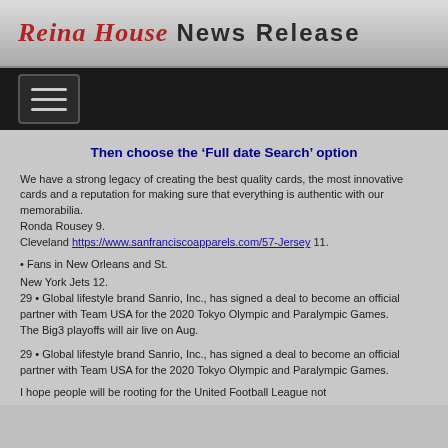Reina House News Release
[Figure (other): Navigation bar with hamburger menu button]
Then choose the ‘Full date Search’ option
We have a strong legacy of creating the best quality cards, the most innovative cards and a reputation for making sure that everything is authentic with our memorabilia.
Ronda Rousey 9.
Cleveland https://www.sanfranciscoapparels.com/57-Jersey 11.
• Fans in New Orleans and St.
New York Jets 12.
29 • Global lifestyle brand Sanrio, Inc., has signed a deal to become an official partner with Team USA for the 2020 Tokyo Olympic and Paralympic Games.
The Big3 playoffs will air live on Aug.
29 • Global lifestyle brand Sanrio, Inc., has signed a deal to become an official partner with Team USA for the 2020 Tokyo Olympic and Paralympic Games.
I hope people will be rooting for the United Football League not